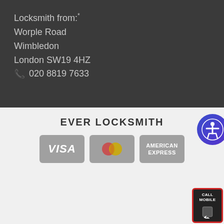Locksmith from:*
Worple Road
Wimbledon
London SW19 4HZ
📞 020 8819 7633
EVER LOCKSMITH
[Figure (logo): VISA payment card logo on grey background]
[Figure (logo): Mastercard payment logo with two overlapping circles on grey background]
[Figure (logo): American Express payment card logo on grey background]
This website uses cookies. Please visit our Privacy for more details. Learn more.
© 2022. All rights reserved.
[Figure (other): Green 'Got it!' cookie consent button]
[Figure (other): Accessibility button with person icon]
[Figure (other): Call Mobile button with phone icon]